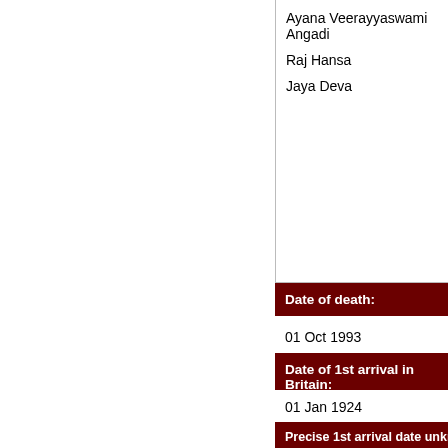Ayana Veerayyaswami Angadi
Raj Hansa
Jaya Deva
Date of death:
01 Oct 1993
Date of 1st arrival in Britain:
01 Jan 1924
Precise 1st arrival date unknown:
Y
Dates of time spent in Britain:
1924-?